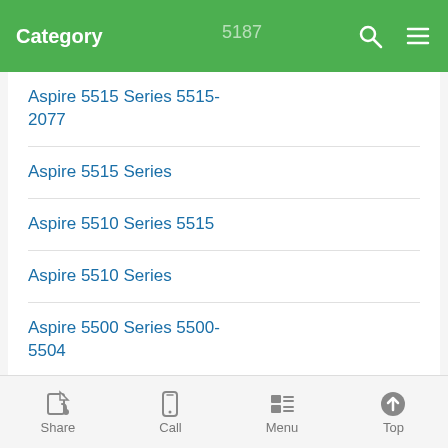Category 5187
Aspire 5515 Series 5515-2077
Aspire 5515 Series
Aspire 5510 Series 5515
Aspire 5510 Series
Aspire 5500 Series 5500-5504
Aspire 5390G Series
Aspire 5360 Series
Aspire 5320G Series
Aspire 5320 Series
Share  Call  Menu  Top